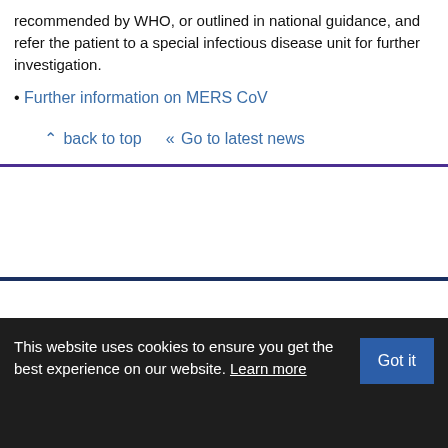recommended by WHO, or outlined in national guidance, and refer the patient to a special infectious disease unit for further investigation.
Further information on MERS CoV
∧ back to top   « Go to latest news
This website uses cookies to ensure you get the best experience on our website. Learn more